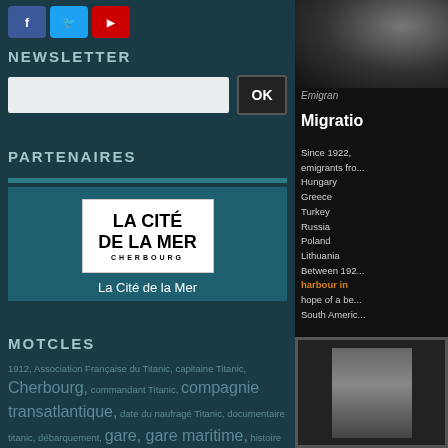[Figure (other): Social media icons: Facebook, Twitter, YouTube]
NEWSLETTER
Newsletter email input field with OK button
PARTENAIRES
[Figure (logo): La Cité de la Mer Cherbourg logo]
La Cité de la Mer
MOTCLES
1912, Association Française du Titanic, capitaine Titanic, Cherbourg, commandant Titanic, compagnie transatlantique, date du naufragé Titanic, documentaire titanic, débarquement, gare, gare maritime, histoire du titanic le film, la cité de la mer, la nuit du Titanic, les enfants du titanic, les rescapés du titanic, liste des passagers du titanic, naufrage du Titanic,
[Figure (photo): Emigrant photograph, partially visible]
Emigran...
Migratio...
Since 1922, emigrants from Hungary, Greece, Turkey, Russia, Poland, Lithuania. Between 1922... harbour in... hope of a be... South Americ...
[Figure (photo): Bottom photograph, partially visible]